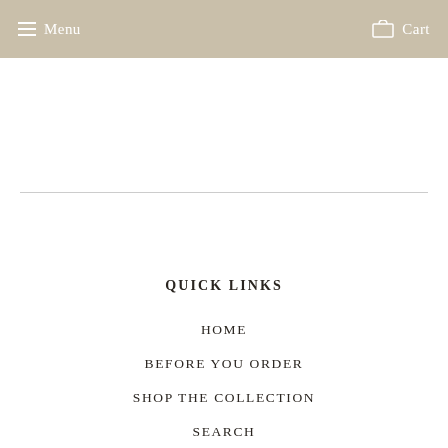Menu  Cart
QUICK LINKS
HOME
BEFORE YOU ORDER
SHOP THE COLLECTION
SEARCH
CONTACT